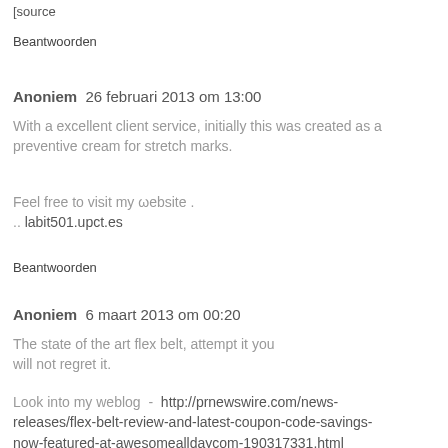[source
Beantwoorden
Anoniem  26 februari 2013 om 13:00
With a excellent client service, initially this was created as a preventive cream for stretch marks.
Feel free to visit my ωebsite .
.. labit501.upct.es
Beantwoorden
Anoniem  6 maart 2013 om 00:20
The state of the art flex belt, attempt it you will not regret it.
Look into my weblog - http://prnewswire.com/news-releases/flex-belt-review-and-latest-coupon-code-savings-now-featured-at-awesomealldaycom-190317331.html